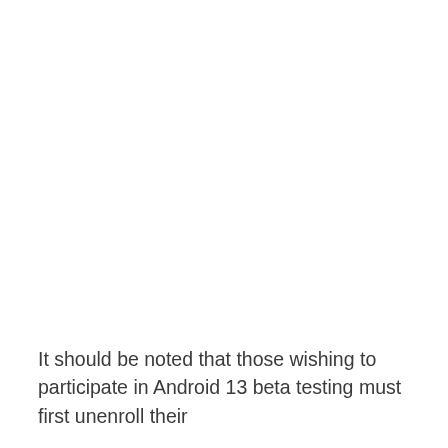It should be noted that those wishing to participate in Android 13 beta testing must first unenroll their devices from the stable 12 channel...